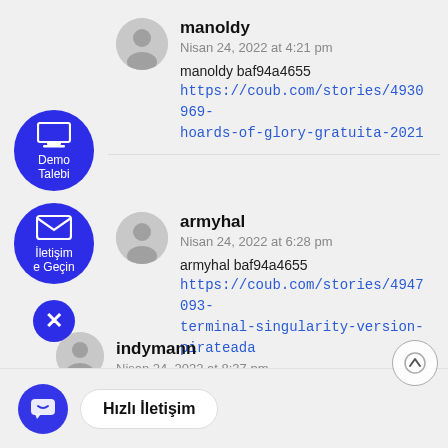manoldy
Nisan 24, 2022 at 4:21 pm
manoldy baf94a4655 https://coub.com/stories/4930969-hoards-of-glory-gratuita-2021
armyhal
Nisan 24, 2022 at 6:28 pm
armyhal baf94a4655 https://coub.com/stories/4947093-terminal-singularity-version-pirateada
Hızlı İletişim
indymann
Nisan 24, 2022 at 8:37 pm